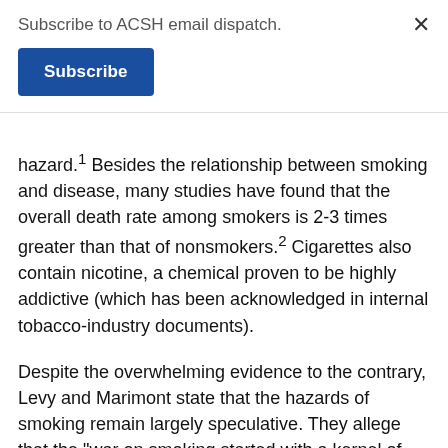Subscribe to ACSH email dispatch.
Subscribe
hazard.1 Besides the relationship between smoking and disease, many studies have found that the overall death rate among smokers is 2-3 times greater than that of nonsmokers.2 Cigarettes also contain nicotine, a chemical proven to be highly addictive (which has been acknowledged in internal tobacco-industry documents).
Despite the overwhelming evidence to the contrary, Levy and Marimont state that the hazards of smoking remain largely speculative. They allege that the "war on smoking started with a kernel of truth that cigarettes are a high risk factor for lung cancer." Ironically, it is Levy and Marimont's article that contains only a kernel of truth about the risks of smoking. In fact, while active cigarette smoking has been causally linked to lung